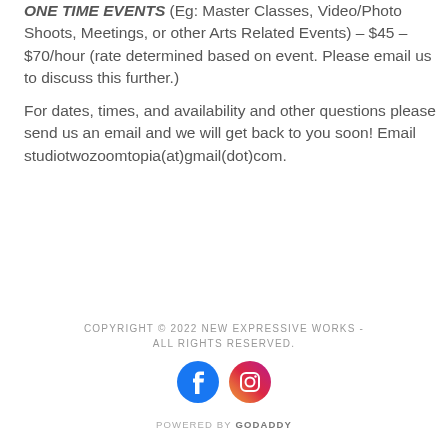ONE TIME EVENTS (Eg: Master Classes, Video/Photo Shoots, Meetings, or other Arts Related Events) – $45 – $70/hour (rate determined based on event. Please email us to discuss this further.)
For dates, times, and availability and other questions please send us an email and we will get back to you soon! Email studiotwozoomtopia(at)gmail(dot)com.
COPYRIGHT © 2022 NEW EXPRESSIVE WORKS - ALL RIGHTS RESERVED.
[Figure (other): Facebook and Instagram social media icon circles]
POWERED BY GODADDY